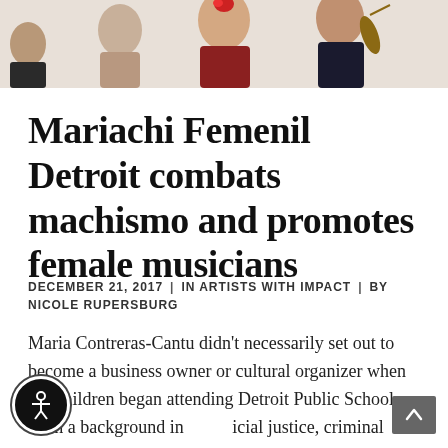[Figure (photo): Partial view of mariachi musicians at the top of the page, showing people in traditional attire, cropped at the bottom of the photo strip.]
Mariachi Femenil Detroit combats machismo and promotes female musicians
DECEMBER 21, 2017  |  IN ARTISTS WITH IMPACT  |  BY NICOLE RUPERSBURG
Maria Contreras-Cantu didn't necessarily set out to become a business owner or cultural organizer when her children began attending Detroit Public Schools. With a background in social justice, criminal justice, and public policy, Contreras-Cantu believes you have to be the